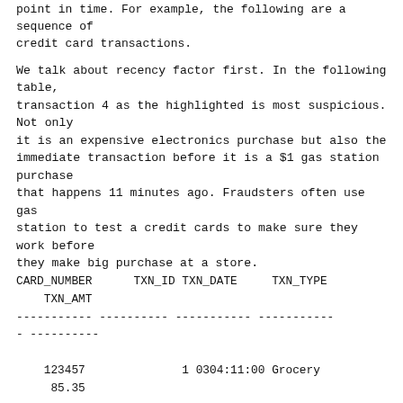point in time. For example, the following are a sequence of credit card transactions.
We talk about recency factor first. In the following table, transaction 4 as the highlighted is most suspicious. Not only it is an expensive electronics purchase but also the immediate transaction before it is a $1 gas station purchase that happens 11 minutes ago. Fraudsters often use gas station to test a credit cards to make sure they work before they make big purchase at a store.
| CARD_NUMBER | TXN_ID | TXN_DATE | TXN_TYPE | TXN_AMT |
| --- | --- | --- | --- | --- |
| 123457 | 1 | 0304:11:00 | Grocery | 85.35 |
| 123457 | 2 | 0304:17:30 | Electronic | 2100.75 |
| 123457 | 3 | 0305:08:25 | Gas Station | 1 |
| 123457 | 4 | 0305:08:36 | Electronic | 1435.2 |